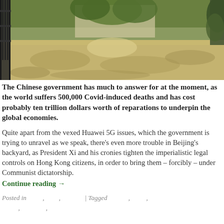[Figure (photo): Outdoor courtyard or garden path scene viewed through a wrought iron gate, with dappled sunlight on paving stones and lush green trees in the background.]
The Chinese government has much to answer for at the moment, as the world suffers 500,000 Covid-induced deaths and has cost probably ten trillion dollars worth of reparations to underpin the global economies.
Quite apart from the vexed Huawei 5G issues, which the government is trying to unravel as we speak, there's even more trouble in Beijing's backyard, as President Xi and his cronies tighten the imperialistic legal controls on Hong Kong citizens, in order to bring them – forcibly – under Communist dictatorship.
Continue reading →
Posted in , , | Tagged , , , ,